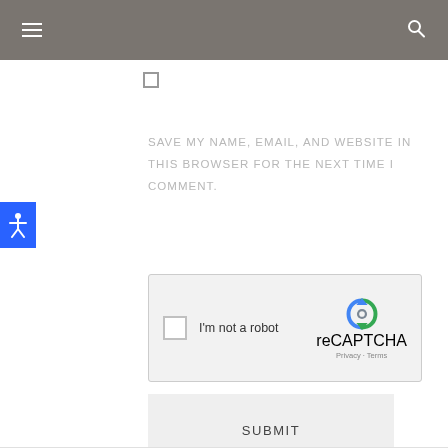Navigation bar with hamburger menu and search icon
[Figure (screenshot): Checkbox (unchecked) for saving browser data]
SAVE MY NAME, EMAIL, AND WEBSITE IN THIS BROWSER FOR THE NEXT TIME I COMMENT.
[Figure (other): reCAPTCHA widget with 'I'm not a robot' checkbox, reCAPTCHA logo, Privacy and Terms links]
[Figure (other): SUBMIT button]
[Figure (other): Accessibility icon button (blue, person with arms spread)]